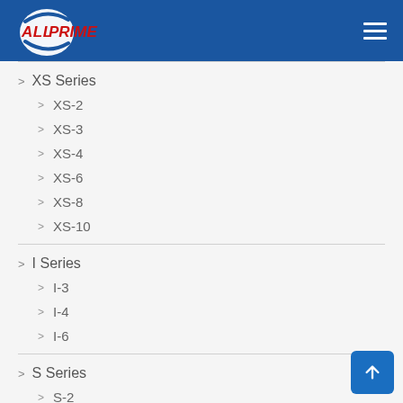AllPrime — navigation header
> XS Series
> XS-2
> XS-3
> XS-4
> XS-6
> XS-8
> XS-10
> I Series
> I-3
> I-4
> I-6
> S Series
> S-2